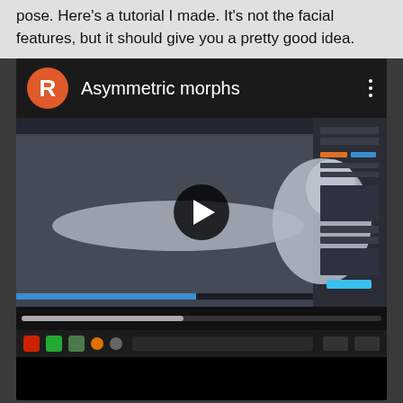pose. Here's a tutorial I made. It's not the facial features, but it should give you a pretty good idea.
[Figure (screenshot): YouTube video embed showing 'Asymmetric morphs' tutorial with an orange R avatar icon, a 3D character model in a T-pose in a Blender-like software viewport, with a play button overlay. Below the video is a taskbar and black area.]
reply   quote